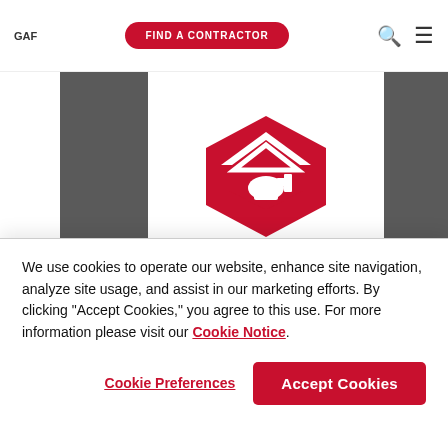GAF | FIND A CONTRACTOR
[Figure (logo): McGuire Roofing & Construction logo: red hexagonal badge with house roofline and hammer/worker silhouette, bold black text MCGUIRE below, ROOFING & CONSTRUCTION subtitle with red underline. Master Elite badge visible at bottom right of logo.]
We use cookies to operate our website, enhance site navigation, analyze site usage, and assist in our marketing efforts. By clicking "Accept Cookies," you agree to this use. For more information please visit our Cookie Notice.
Cookie Preferences
Accept Cookies